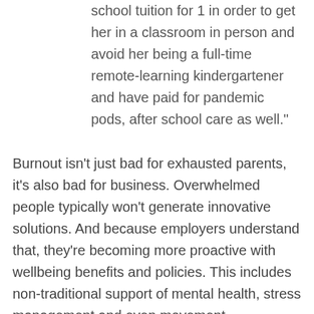school tuition for 1 in order to get her in a classroom in person and avoid her being a full-time remote-learning kindergartener and have paid for pandemic pods, after school care as well."
Burnout isn't just bad for exhausted parents, it's also bad for business. Overwhelmed people typically won't generate innovative solutions. And because employers understand that, they're becoming more proactive with wellbeing benefits and policies. This includes non-traditional support of mental health, stress management and even movement.